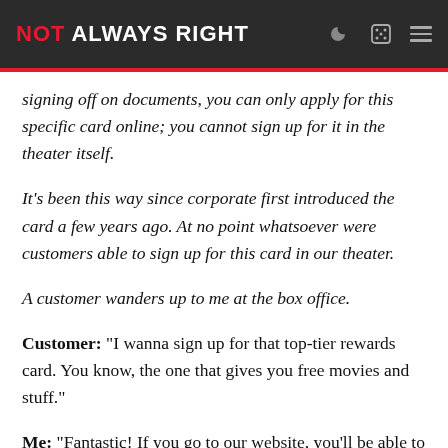NOT ALWAYS RIGHT
signing off on documents, you can only apply for this specific card online; you cannot sign up for it in the theater itself.
It's been this way since corporate first introduced the card a few years ago. At no point whatsoever were customers able to sign up for this card in our theater.
A customer wanders up to me at the box office.
Customer: “I wanna sign up for that top-tier rewards card. You know, the one that gives you free movies and stuff.”
Me: “Fantastic! If you go to our website, you’ll be able to sign up on there.”
Customer: “Nah, I’m doing it here. I’ve always signed